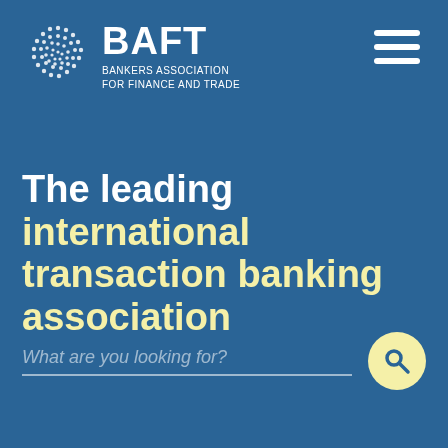[Figure (logo): BAFT Bankers Association for Finance and Trade logo with globe icon]
The leading international transaction banking association
What are you looking for?